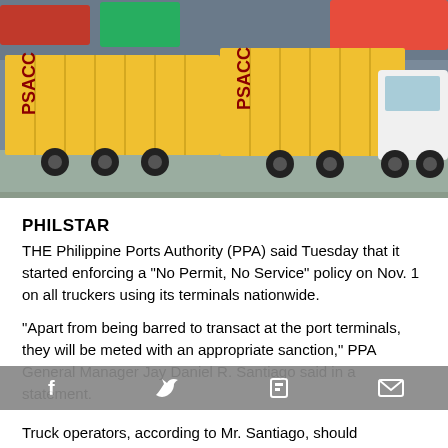[Figure (photo): Photograph of yellow PSACC shipping containers on trucks at a port terminal, with other trucks and port infrastructure visible in the background.]
PHILSTAR
THE Philippine Ports Authority (PPA) said Tuesday that it started enforcing a “No Permit, No Service” policy on Nov. 1 on all truckers using its terminals nationwide.
“Apart from being barred to transact at the port terminals, they will be meted with an appropriate sanction,” PPA General Manager Jay Daniel R. Santiago said in a statement.
Truck operators, according to Mr. Santiago, should